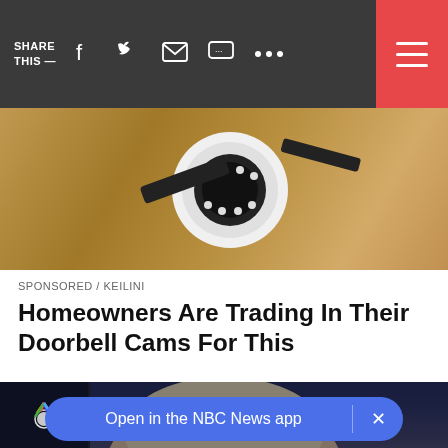SHARE THIS —  [social icons]  [hamburger menu]
[Figure (photo): Close-up photo of a security camera mounted on a textured beige/tan wall]
SPONSORED / KEILINI
Homeowners Are Trading In Their Doorbell Cams For This
[Figure (photo): NBC News article page showing a photo of a woman with blonde hair and black glasses in front of an American flag, with NBC peacock logo overlay]
Open in the NBC News app  ×